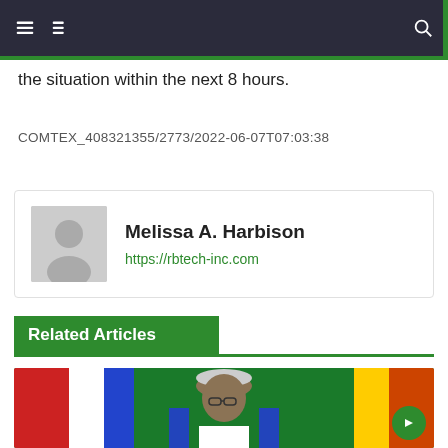Navigation bar with menu icons and search
the situation within the next 8 hours.
COMTEX_408321355/2773/2022-06-07T07:03:38
Melissa A. Harbison
https://rbtech-inc.com
Related Articles
[Figure (photo): A man wearing glasses and a traditional Nigerian cap seated in a blue chair against a colourful flag backdrop]